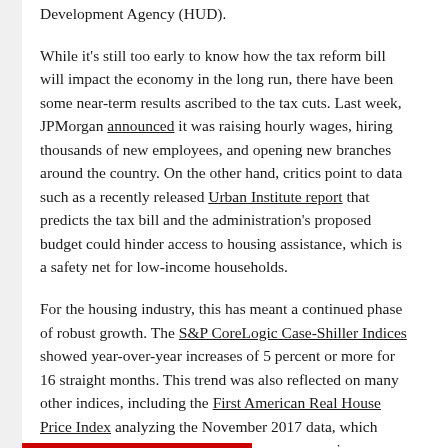Development Agency (HUD).
While it's still too early to know how the tax reform bill will impact the economy in the long run, there have been some near-term results ascribed to the tax cuts. Last week, JPMorgan announced it was raising hourly wages, hiring thousands of new employees, and opening new branches around the country. On the other hand, critics point to data such as a recently released Urban Institute report that predicts the tax bill and the administration's proposed budget could hinder access to housing assistance, which is a safety net for low-income households.
For the housing industry, this has meant a continued phase of robust growth. The S&P CoreLogic Case-Shiller Indices showed year-over-year increases of 5 percent or more for 16 straight months. This trend was also reflected on many other indices, including the First American Real House Price Index analyzing the November 2017 data, which showed that homes were 5 percent more expensive compared to the same period a